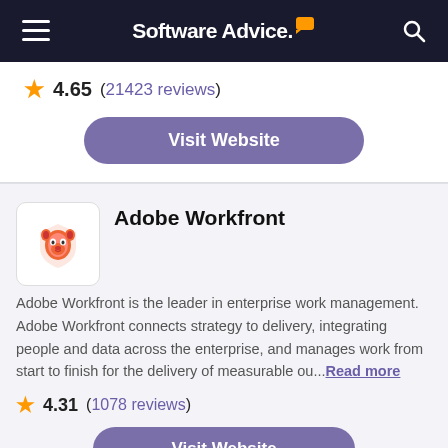Software Advice.
4.65 (21423 reviews)
Visit Website
Adobe Workfront
Adobe Workfront is the leader in enterprise work management. Adobe Workfront connects strategy to delivery, integrating people and data across the enterprise, and manages work from start to finish for the delivery of measurable ou...Read more
4.31 (1078 reviews)
Visit Website